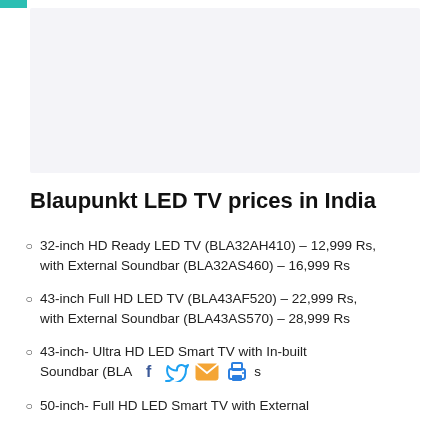[Figure (other): Light gray image placeholder area at top of page]
Blaupunkt LED TV prices in India
32-inch HD Ready LED TV (BLA32AH410) – 12,999 Rs, with External Soundbar (BLA32AS460) – 16,999 Rs
43-inch Full HD LED TV (BLA43AF520) – 22,999 Rs, with External Soundbar (BLA43AS570) – 28,999 Rs
43-inch- Ultra HD LED Smart TV with In-built Soundbar (BLA [social icons] s
50-inch- Full HD LED Smart TV with External